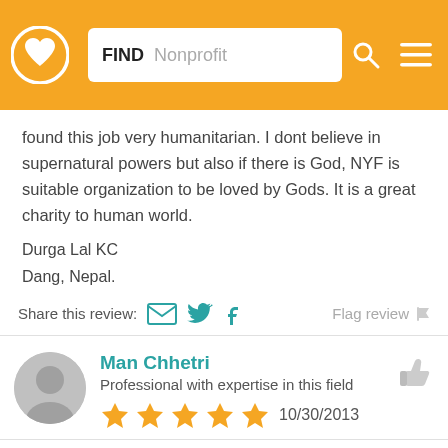FIND Nonprofit
found this job very humanitarian. I dont believe in supernatural powers but also if there is God, NYF is suitable organization to be loved by Gods. It is a great charity to human world.
Durga Lal KC
Dang, Nepal.
Share this review:  Flag review
Man Chhetri
Professional with expertise in this field
★★★★★ 10/30/2013
Donate